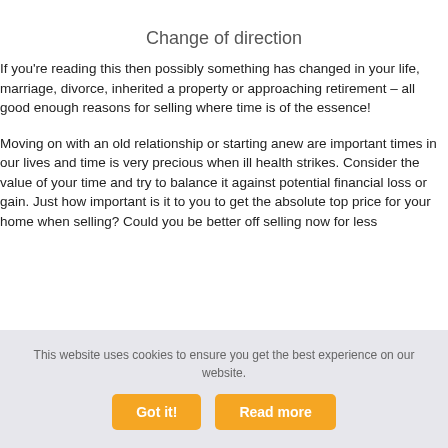Change of direction
If you're reading this then possibly something has changed in your life, marriage, divorce, inherited a property or approaching retirement – all good enough reasons for selling where time is of the essence!
Moving on with an old relationship or starting anew are important times in our lives and time is very precious when ill health strikes. Consider the value of your time and try to balance it against potential financial loss or gain. Just how important is it to you to get the absolute top price for your home when selling? Could you be better off selling now for less
This website uses cookies to ensure you get the best experience on our website.